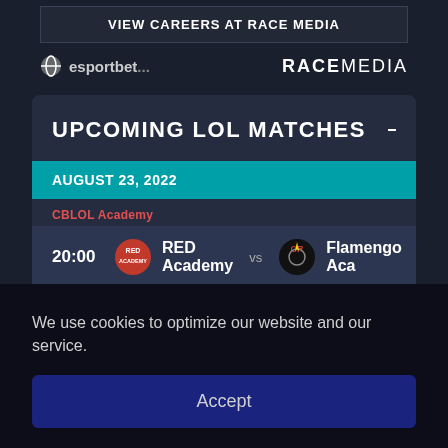VIEW CAREERS AT RACE MEDIA
[Figure (logo): esportbet... logo on the left, RACE MEDIA logo on the right]
UPCOMING LOL MATCHES
AUGUST 23, 2022
CBLOL Academy
20:00  RED Academy  vs  Flamengo Aca
LCS Proving Grounds
[Figure (screenshot): Partial match row with two team logos visible]
We use cookies to optimize our website and our service.
Accept